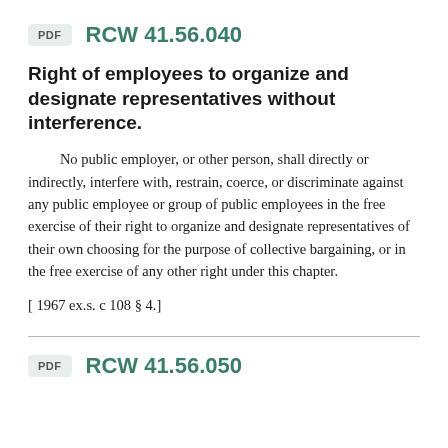PDF  RCW 41.56.040
Right of employees to organize and designate representatives without interference.
No public employer, or other person, shall directly or indirectly, interfere with, restrain, coerce, or discriminate against any public employee or group of public employees in the free exercise of their right to organize and designate representatives of their own choosing for the purpose of collective bargaining, or in the free exercise of any other right under this chapter.
[ 1967 ex.s. c 108 § 4.]
PDF  RCW 41.56.050